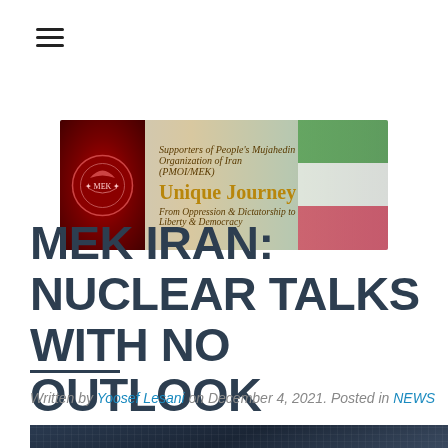[Figure (logo): Hamburger menu icon (three horizontal lines) in top-left corner]
[Figure (illustration): Website banner for 'Unique Journey - Supporters of People's Mujahedin Organization of Iran (PMOI/MEK) - From Oppression & Dictatorship to Liberty & Democracy' with a red emblem on the left, text in center, and Iranian flag on the right]
MEK IRAN: NUCLEAR TALKS WITH NO OUTLOOK
Written by Yoosef Lesani on December 4, 2021. Posted in NEWS
[Figure (photo): Dark blue close-up photo of what appears to be metal grating or industrial equipment]